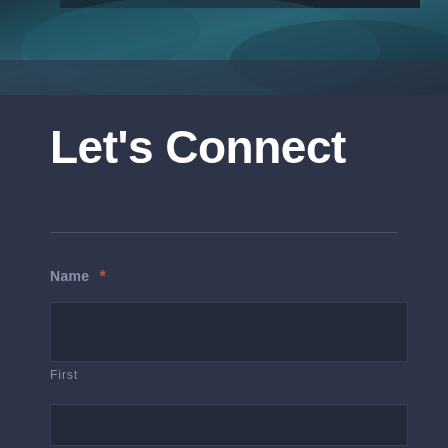[Figure (photo): Dark teal/blue abstract photo banner at the top of the page, partially cropped]
Let’s Connect
Name *
First